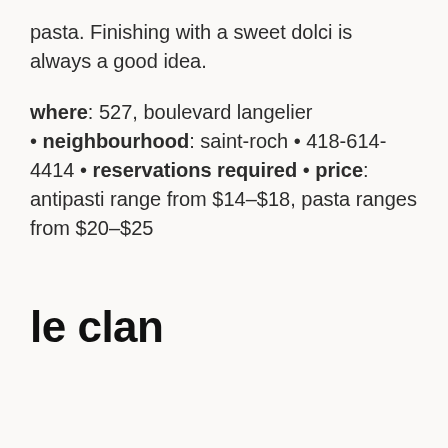pasta. Finishing with a sweet dolci is always a good idea.
where: 527, boulevard langelier • neighbourhood: saint-roch • 418-614-4414 • reservations required • price: antipasti range from $14–$18, pasta ranges from $20–$25
le clan